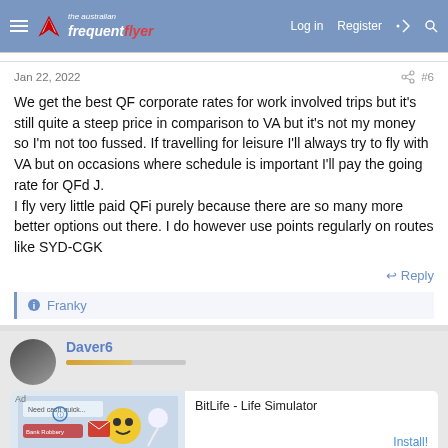The Australian Frequent Flyer — Log in  Register
Jan 22, 2022  #6
We get the best QF corporate rates for work involved trips but it's still quite a steep price in comparison to VA but it's not my money so I'm not too fussed. If travelling for leisure I'll always try to fly with VA but on occasions where schedule is important I'll pay the going rate for QFd J.
I fly very little paid QFi purely because there are so many more better options out there. I do however use points regularly on routes like SYD-CGK
Reply
Franky
Daver6
Ad  BitLife - Life Simulator  Install!